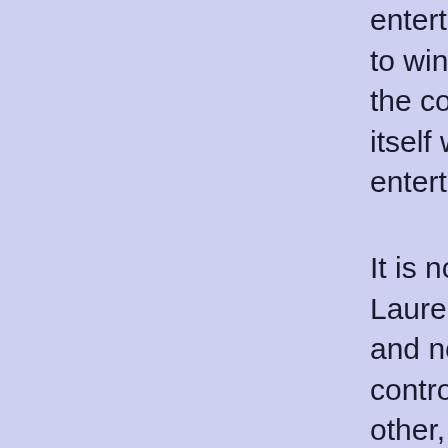entertainment. High Definition. But with the need to win over a new generation of DVD buyers, the conflict between VHS and Betamax. The format itself was eventually swallowed up by the world of entertainment.
It is now almost ten years since the first Disc Laureate Company was formed in 2000 to compete and now, as we enter our ninth year of operation, control of the high definition market between one and other, Sony with Blu-ray, is at last coming to an end.
Movie collectors, who form more than 73% of high definition because of this format battle and refused to comment on this new era until a definitive winner watch on the way that this emergent market would summer of last year that Blu-ray had the upper hand to exclusively support HD-DVD – presumably because, theoretically, would have wider appeal with the key consideration – HD-DVD discs were cheaper.
But to offset this, there were rumours back that they light exclusively. If they did, this would give well bring the format war to an end. The radical step of offering $150 million dollar